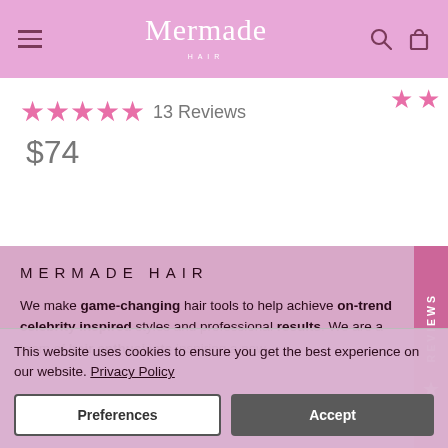Mermade Hair — navigation header with hamburger menu, logo, search and bag icons
★★★★★ 13 Reviews
$74
MERMADE HAIR
We make game-changing hair tools to help achieve on-trend celebrity inspired styles and professional results. We are a team of hair enthusiasts inspiring a new
This website uses cookies to ensure you get the best experience on our website. Privacy Policy
Preferences
Accept